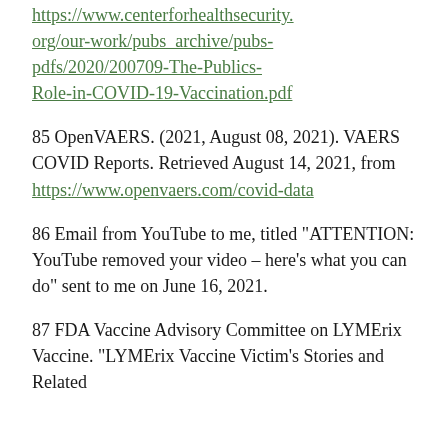https://www.centerforhealthsecurity.org/our-work/pubs_archive/pubs-pdfs/2020/200709-The-Publics-Role-in-COVID-19-Vaccination.pdf
85 OpenVAERS. (2021, August 08, 2021). VAERS COVID Reports. Retrieved August 14, 2021, from https://www.openvaers.com/covid-data
86 Email from YouTube to me, titled "ATTENTION: YouTube removed your video – here's what you can do" sent to me on June 16, 2021.
87 FDA Vaccine Advisory Committee on LYMErix Vaccine. "LYMErix Vaccine Victim's Stories and Related